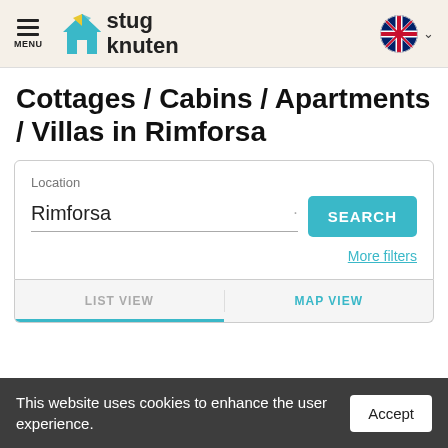stug knuten — MENU | UK flag language selector
Cottages / Cabins / Apartments / Villas in Rimforsa
Location
Rimforsa
SEARCH
More filters
LIST VIEW
MAP VIEW
This website uses cookies to enhance the user experience.
Accept